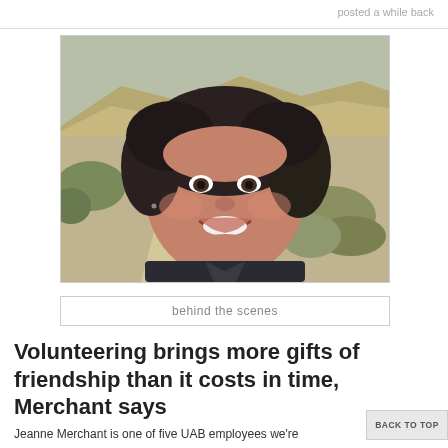posted a while back
[Figure (photo): Smiling woman with dark curly hair outdoors in a desert/badlands landscape with sandy hills and scrub brush in the background]
behind the scenes
Volunteering brings more gifts of friendship than it costs in time, Merchant says
Jeanne Merchant is one of five UAB employees we're